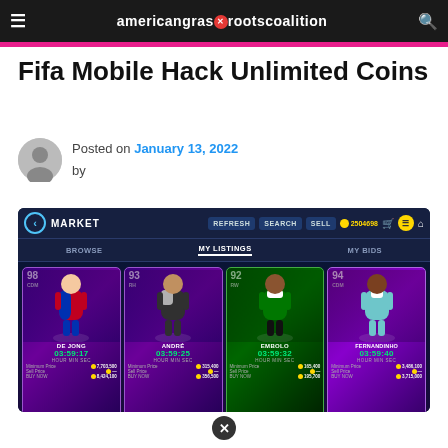americangrassrootscoalition
Fifa Mobile Hack Unlimited Coins
Posted on January 13, 2022 by
[Figure (screenshot): FIFA Mobile game market screen showing player cards: De Jong (98 CDM), André (93 RH), Embolo (92 RW), Fernandinho (94 CDM). MY LISTINGS tab active. Shows timers around 03:59 and coin prices for each player.]